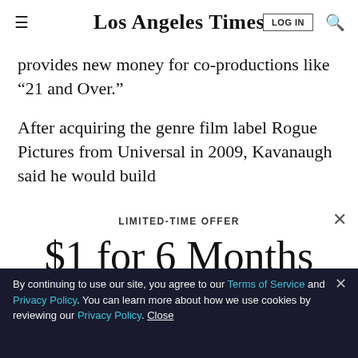Los Angeles Times
provides new money for co-productions like “21 and Over.”
After acquiring the genre film label Rogue Pictures from Universal in 2009, Kavanaugh said he would build
LIMITED-TIME OFFER
$1 for 6 Months
SUBSCRIBE NOW
By continuing to use our site, you agree to our Terms of Service and Privacy Policy. You can learn more about how we use cookies by reviewing our Privacy Policy. Close